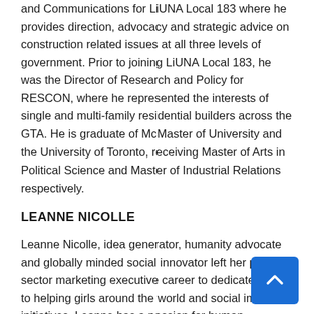and Communications for LiUNA Local 183 where he provides direction, advocacy and strategic advice on construction related issues at all three levels of government. Prior to joining LiUNA Local 183, he was the Director of Research and Policy for RESCON, where he represented the interests of single and multi-family residential builders across the GTA. He is graduate of McMaster of University and the University of Toronto, receiving Master of Arts in Political Science and Master of Industrial Relations respectively.
LEANNE NICOLLE
Leanne Nicolle, idea generator, humanity advocate and globally minded social innovator left her private sector marketing executive career to dedicate her life to helping girls around the world and social impact initiatives. Leanne has a passion for human development and has worked in the social space for UNICEF, Plan Canada and as the founder of girl!mpact